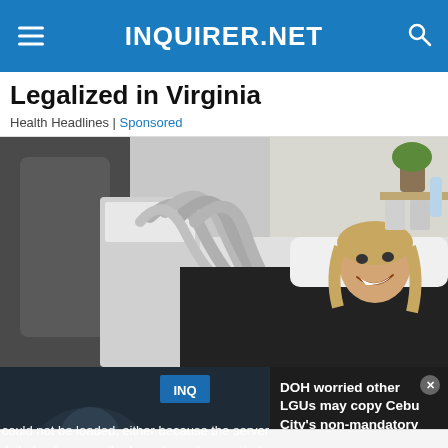INQUIRER.NET
Legalized in Virginia
Health Headlines | Sponsored
[Figure (photo): Woman lying on a treatment table smiling while a medical device with multiple hose attachments is positioned over her body in a clinical/spa setting.]
The media could not be loaded, either because the server or network failed or because the format is not supported.
DOH WORRIED OTHER LGUS MAY COPY CEBU CITY'S NON-MANDATORY FACE MASK RULE
DOH worried other LGUs may copy Cebu City's non-mandatory face ma...